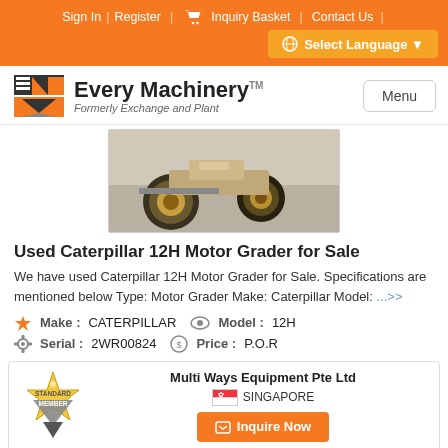Sign In | Register | Inquiry Basket | Contact Us |
Select Language
[Figure (logo): Every Machinery logo with EM icon — Formerly Exchange and Plant]
[Figure (photo): Photo of a Caterpillar 12H Motor Grader, showing large tires and undercarriage]
Used Caterpillar 12H Motor Grader for Sale
We have used Caterpillar 12H Motor Grader for Sale. Specifications are mentioned below Type: Motor Grader Make: Caterpillar Model: ...>>
Make : CATERPILLAR   Model : 12H
Serial : 2WR00824   Price : P.O.R
Multi Ways Equipment Pte Ltd
SINGAPORE
Inquire Now